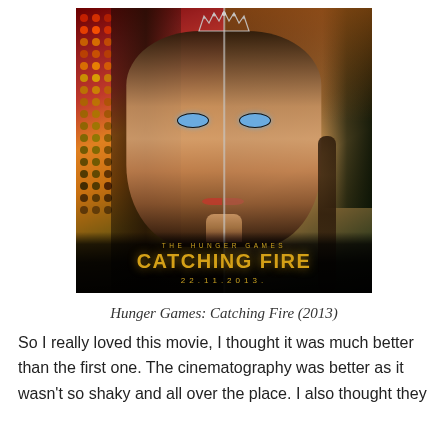[Figure (photo): Movie poster for The Hunger Games: Catching Fire (2013). Split-face image showing Jennifer Lawrence as Katniss Everdeen — left half shows glamorous Capitol look with tiara and dramatic makeup, right half shows the natural district look with braided hair. Text at bottom reads 'THE HUNGER GAMES' above 'CATCHING FIRE' in large gold letters, with release date '22.11.2013.']
Hunger Games: Catching Fire (2013)
So I really loved this movie, I thought it was much better than the first one. The cinematography was better as it wasn't so shaky and all over the place. I also thought they